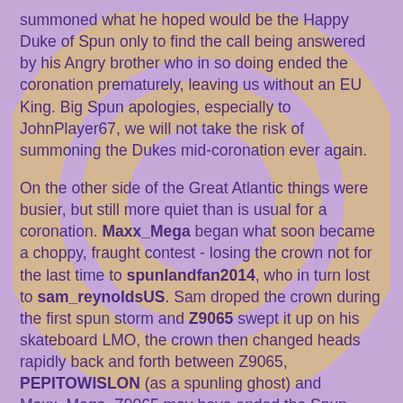summoned what he hoped would be the Happy Duke of Spun only to find the call being answered by his Angry brother who in so doing ended the coronation prematurely, leaving us without an EU King. Big Spun apologies, especially to JohnPlayer67, we will not take the risk of summoning the Dukes mid-coronation ever again.
On the other side of the Great Atlantic things were busier, but still more quiet than is usual for a coronation. Maxx_Mega began what soon became a choppy, fraught contest - losing the crown not for the last time to spunlandfan2014, who in turn lost to sam_reynoldsUS. Sam droped the crown during the first spun storm and Z9065 swept it up on his skateboard LMO, the crown then changed heads rapidly back and forth between Z9065, PEPITOWISLON (as a spunling ghost) and Maxx_Mega. Z9065 may have ended the Spun Cycle but it was Maxx_Mega who sprung forth again at the advent of the next Spun Harvest, indeed Maxx_Mega was Harvest King in every cycle of the contest. boofi13 made his first regal claim on a Spuno'ween Broom Broom LMO during the second cycle, besting spunlandfan2014 to end the cycle victorious. In the third spun cycle all of our contestants slogged it out,